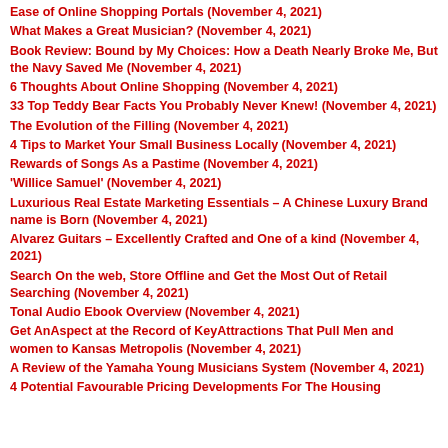Ease of Online Shopping Portals (November 4, 2021)
What Makes a Great Musician? (November 4, 2021)
Book Review: Bound by My Choices: How a Death Nearly Broke Me, But the Navy Saved Me (November 4, 2021)
6 Thoughts About Online Shopping (November 4, 2021)
33 Top Teddy Bear Facts You Probably Never Knew! (November 4, 2021)
The Evolution of the Filling (November 4, 2021)
4 Tips to Market Your Small Business Locally (November 4, 2021)
Rewards of Songs As a Pastime (November 4, 2021)
'Willice Samuel' (November 4, 2021)
Luxurious Real Estate Marketing Essentials – A Chinese Luxury Brand name is Born (November 4, 2021)
Alvarez Guitars – Excellently Crafted and One of a kind (November 4, 2021)
Search On the web, Store Offline and Get the Most Out of Retail Searching (November 4, 2021)
Tonal Audio Ebook Overview (November 4, 2021)
Get AnAspect at the Record of KeyAttractions That Pull Men and women to Kansas Metropolis (November 4, 2021)
A Review of the Yamaha Young Musicians System (November 4, 2021)
4 Potential Favourable Pricing Developments For The Housing